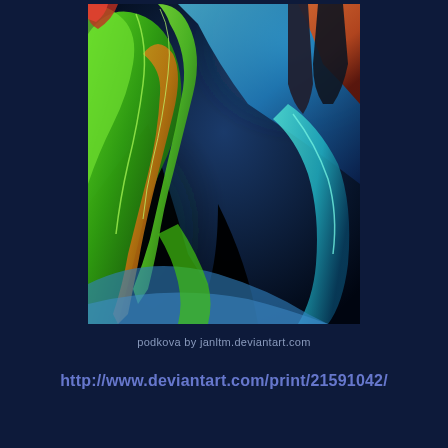[Figure (illustration): Abstract digital artwork titled 'podkova' featuring sweeping curved forms in vivid green, teal/cyan blue, black, and orange tones on a dark background. The composition shows large flowing ribbon-like shapes with dramatic lighting and color gradients creating a sense of depth and motion.]
podkova by janltm.deviantart.com
http://www.deviantart.com/print/21591042/